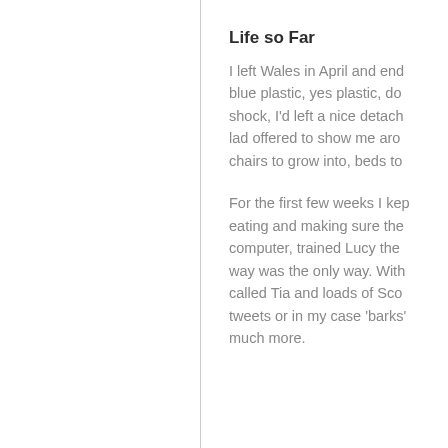Life so Far
I left Wales in April and end... blue plastic, yes plastic, do... shock, I'd left a nice detach... lad offered to show me aro... chairs to grow into, beds to...
For the first few weeks I kep... eating and making sure the... computer, trained Lucy the... way was the only way. With... called Tia and loads of Sco... tweets or in my case 'barks'... much more.